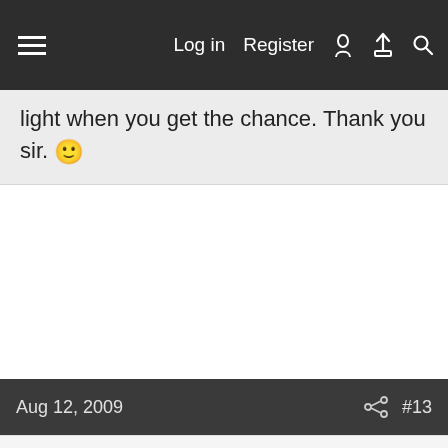Log in   Register
light when you get the chance. Thank you sir. 🙂
Aug 12, 2009   #13
LuxLuthor
Flashaholic